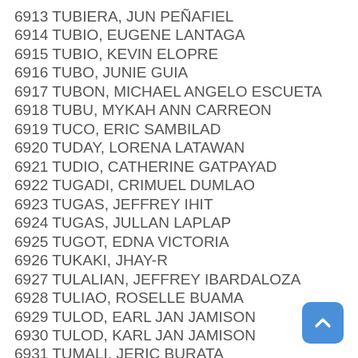6913 TUBIERA, JUN PEÑAFIEL
6914 TUBIO, EUGENE LANTAGA
6915 TUBIO, KEVIN ELOPRE
6916 TUBO, JUNIE GUIA
6917 TUBON, MICHAEL ANGELO ESCUETA
6918 TUBU, MYKAH ANN CARREON
6919 TUCO, ERIC SAMBILAD
6920 TUDAY, LORENA LATAWAN
6921 TUDIO, CATHERINE GATPAYAD
6922 TUGADI, CRIMUEL DUMLAO
6923 TUGAS, JEFFREY IHIT
6924 TUGAS, JULLAN LAPLAP
6925 TUGOT, EDNA VICTORIA
6926 TUKAKI, JHAY-R
6927 TULALIAN, JEFFREY IBARDALOZA
6928 TULIAO, ROSELLE BUAMA
6929 TULOD, EARL JAN JAMISON
6930 TULOD, KARL JAN JAMISON
6931 TUMALI, JERIC BURATA
6932 TUMALI, JOCHELLE BURATA
6933 TUMANG, BRYAN JOHN DELA CRUZ